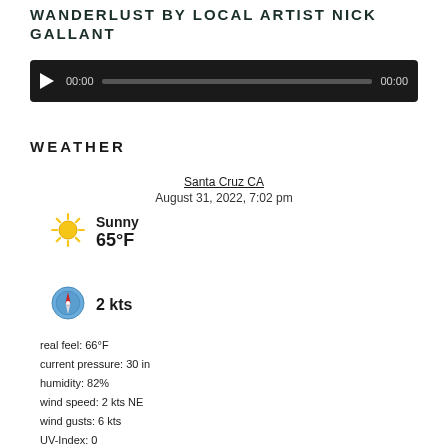WANDERLUST BY LOCAL ARTIST NICK GALLANT
[Figure (other): Audio player widget with play button, time display 00:00, progress bar, and end time 00:00 on dark background]
WEATHER
Santa Cruz CA
August 31, 2022, 7:02 pm
[Figure (infographic): Sun emoji icon representing sunny weather]
Sunny
65°F
[Figure (infographic): Compass/wind direction emoji icon]
2 kts
real feel: 66°F
current pressure: 30 in
humidity: 82%
wind speed: 2 kts NE
wind gusts: 6 kts
UV-Index: 0